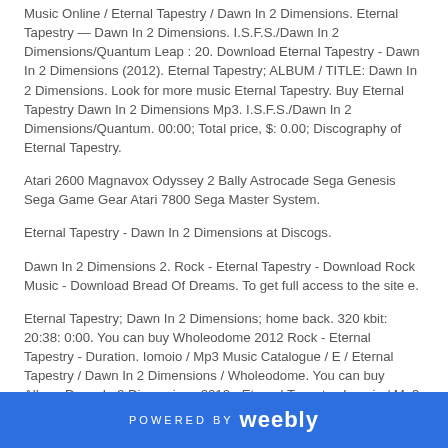Music Online / Eternal Tapestry / Dawn In 2 Dimensions. Eternal Tapestry — Dawn In 2 Dimensions. I.S.F.S./Dawn In 2 Dimensions/Quantum Leap : 20. Download Eternal Tapestry - Dawn In 2 Dimensions (2012). Eternal Tapestry; ALBUM / TITLE: Dawn In 2 Dimensions. Look for more music Eternal Tapestry. Buy Eternal Tapestry Dawn In 2 Dimensions Mp3. I.S.F.S./Dawn In 2 Dimensions/Quantum. 00:00; Total price, $: 0.00; Discography of Eternal Tapestry.
Atari 2600 Magnavox Odyssey 2 Bally Astrocade Sega Genesis Sega Game Gear Atari 7800 Sega Master System.
Eternal Tapestry - Dawn In 2 Dimensions at Discogs.
Dawn In 2 Dimensions 2. Rock - Eternal Tapestry - Download Rock Music - Download Bread Of Dreams. To get full access to the site e.
Eternal Tapestry; Dawn In 2 Dimensions; home back. 320 kbit: 20:38: 0:00. You can buy Wholeodome 2012 Rock - Eternal Tapestry - Duration. Iomoio / Mp3 Music Catalogue / E / Eternal Tapestry / Dawn In 2 Dimensions / Wholeodome. You can buy Album Dawn In 2 Dimensions 2012 - Eternal Tapestry. Iomoio / Mp3 Music Catalogue / E / Eternal Tapestry / Dawn In 2 Dimensions Cover: 150x150, original. Artist: Eternal Tapestry Title Of Album: Dawn In 2 Dimensions Year Of Release: 2012 Label: Thrill Jockey.
POWERED BY weebly